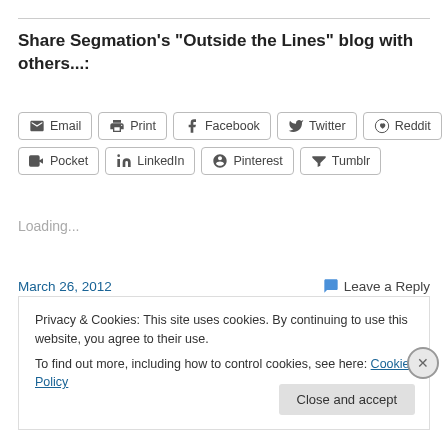Share Segmation's "Outside the Lines" blog with others...:
[Figure (other): Share buttons row 1: Email, Print, Facebook, Twitter, Reddit; row 2: Pocket, LinkedIn, Pinterest, Tumblr]
Loading...
March 26, 2012
Leave a Reply
Privacy & Cookies: This site uses cookies. By continuing to use this website, you agree to their use.
To find out more, including how to control cookies, see here: Cookie Policy
Close and accept